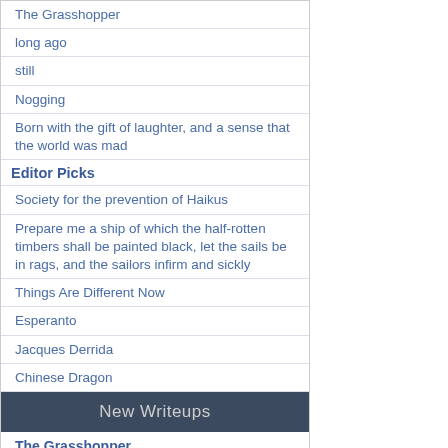The Grasshopper
long ago
still
Nogging
Born with the gift of laughter, and a sense that the world was mad
Editor Picks
Society for the prevention of Haikus
Prepare me a ship of which the half-rotten timbers shall be painted black, let the sails be in rags, and the sailors infirm and sickly
Things Are Different Now
Esperanto
Jacques Derrida
Chinese Dragon
New Writeups
The Grasshopper
(review) by JD
Saint Martin's Summer
(thing) by Clockmaker
September 1, 2022
(personal) by wertperch
Mystic crystal revelation, and the mind's true liberation
(fiction) by wertperch
Black Molly